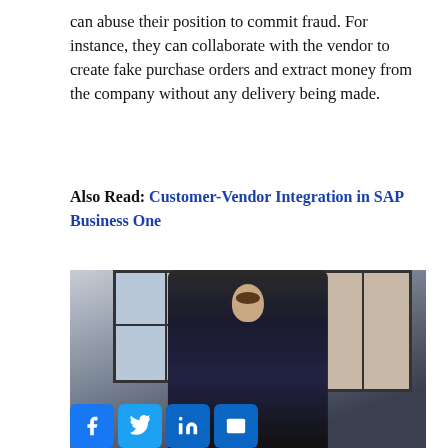can abuse their position to commit fraud. For instance, they can collaborate with the vendor to create fake purchase orders and extract money from the company without any delivery being made.
Also Read: Customer-Vendor Integration in SAP Business One
[Figure (photo): A man in a dark suit and glasses stands leaning over a laptop in a modern office with large black-framed windows.]